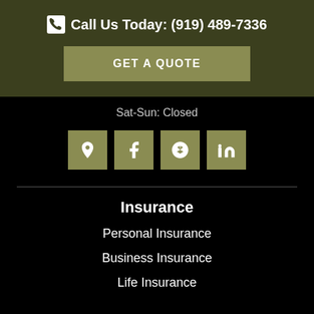Call Us Today: (919) 489-7336
GET A QUOTE
Sat-Sun: Closed
[Figure (infographic): Four social media icon buttons: location pin, Facebook, Yelp, LinkedIn]
Insurance
Personal Insurance
Business Insurance
Life Insurance